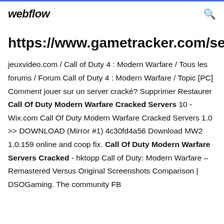webflow
https://www.gametracker.com/search
jeuxvideo.com / Call of Duty 4 : Modern Warfare / Tous les forums / Forum Call of Duty 4 : Modern Warfare / Topic [PC] Comment jouer sur un server cracké? Supprimer Restaurer Call Of Duty Modern Warfare Cracked Servers 10 - Wix.com Call Of Duty Modern Warfare Cracked Servers 1.0 >> DOWNLOAD (Mirror #1) 4c30fd4a56 Download MW2 1.0.159 online and coop fix. Call Of Duty Modern Warfare Servers Cracked - hktopp Call of Duty: Modern Warfare – Remastered Versus Original Screenshots Comparison | DSOGaming. The community FB